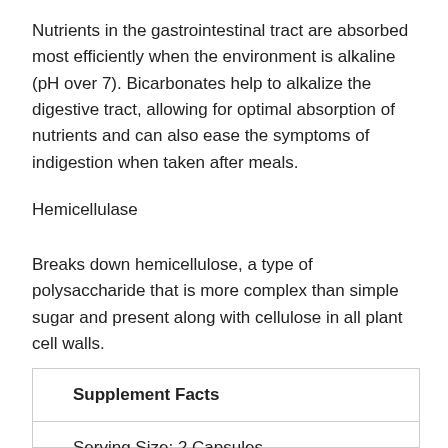Nutrients in the gastrointestinal tract are absorbed most efficiently when the environment is alkaline (pH over 7). Bicarbonates help to alkalize the digestive tract, allowing for optimal absorption of nutrients and can also ease the symptoms of indigestion when taken after meals.
Hemicellulase
Breaks down hemicellulose, a type of polysaccharide that is more complex than simple sugar and present along with cellulose in all plant cell walls.
| Supplement Facts |
| --- |
| Serving Size: 2 Capsules |